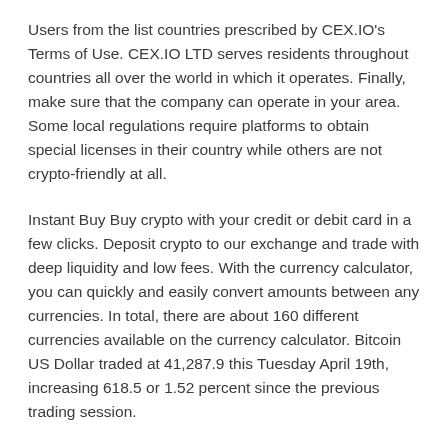Users from the list countries prescribed by CEX.IO's Terms of Use. CEX.IO LTD serves residents throughout countries all over the world in which it operates. Finally, make sure that the company can operate in your area. Some local regulations require platforms to obtain special licenses in their country while others are not crypto-friendly at all.
Instant Buy Buy crypto with your credit or debit card in a few clicks. Deposit crypto to our exchange and trade with deep liquidity and low fees. With the currency calculator, you can quickly and easily convert amounts between any currencies. In total, there are about 160 different currencies available on the currency calculator. Bitcoin US Dollar traded at 41,287.9 this Tuesday April 19th, increasing 618.5 or 1.52 percent since the previous trading session.